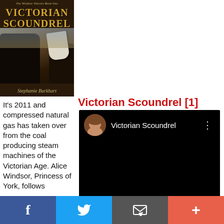[Figure (photo): Book cover of 'Victorian Scoundrel' by Stephanie Burkhart, showing a figure in dark Victorian coat holding white gloves, with golden title text on dark background]
Victorian Scoundrel [1]
It's 2011 and compressed natural gas has taken over from the coal producing steam machines of the Victorian Age. Alice Windsor, Princess of York, follows
[Figure (screenshot): Video player showing 'Victorian Scoundrel' with a woman's avatar photo, title text, and black video area with three-dot menu icon]
f  Twitter bird icon  Email icon  +